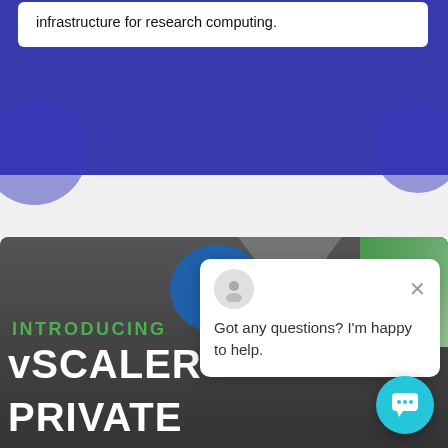infrastructure for research computing.
[Figure (screenshot): Blue decorative background section with circular shapes on left and right edges]
[Figure (screenshot): Chat popup widget with avatar icon, close (X) button, and text: Got any questions? I'm happy to help.]
Got any questions? I'm happy to help.
INTRODUCING
vSCALER
PRIVATE